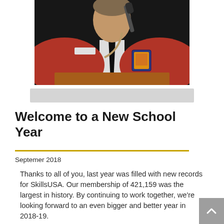[Figure (photo): Person in a red blazer/jacket with a badge/patch, wearing a black tie and white shirt, standing at a podium with a microphone]
Welcome to a New School Year
Septemer 2018
Thanks to all of you, last year was filled with new records for SkillsUSA. Our membership of 421,159 was the largest in history. By continuing to work together, we're looking forward to an even bigger and better year in 2018-19.